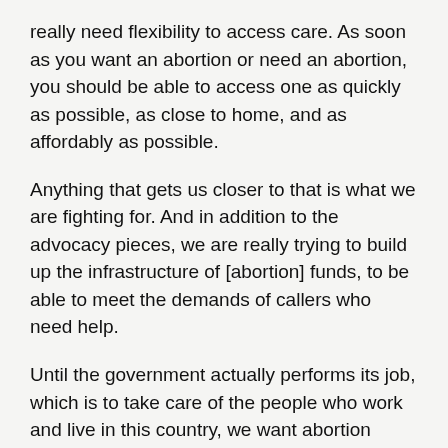really need flexibility to access care. As soon as you want an abortion or need an abortion, you should be able to access one as quickly as possible, as close to home, and as affordably as possible.
Anything that gets us closer to that is what we are fighting for. And in addition to the advocacy pieces, we are really trying to build up the infrastructure of [abortion] funds, to be able to meet the demands of callers who need help.
Until the government actually performs its job, which is to take care of the people who work and live in this country, we want abortion funds to be able to have the capacity to fill in as much as possible. We can't do that without more resources. So we are working hard to make that happen.
What's your ideal vision of a future when it comes to